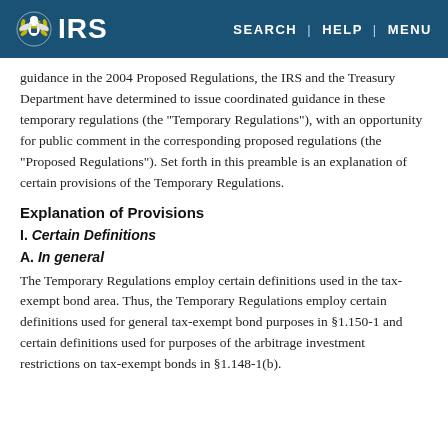IRS | SEARCH | HELP | MENU
guidance in the 2004 Proposed Regulations, the IRS and the Treasury Department have determined to issue coordinated guidance in these temporary regulations (the "Temporary Regulations"), with an opportunity for public comment in the corresponding proposed regulations (the "Proposed Regulations"). Set forth in this preamble is an explanation of certain provisions of the Temporary Regulations.
Explanation of Provisions
I. Certain Definitions
A. In general
The Temporary Regulations employ certain definitions used in the tax-exempt bond area. Thus, the Temporary Regulations employ certain definitions used for general tax-exempt bond purposes in §1.150-1 and certain definitions used for purposes of the arbitrage investment restrictions on tax-exempt bonds in §1.148-1(b).